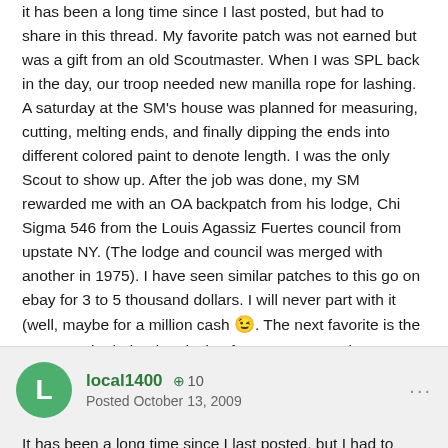it has been a long time since I last posted, but had to share in this thread. My favorite patch was not earned but was a gift from an old Scoutmaster. When I was SPL back in the day, our troop needed new manilla rope for lashing. A saturday at the SM's house was planned for measuring, cutting, melting ends, and finally dipping the ends into different colored paint to denote length. I was the only Scout to show up. After the job was done, my SM rewarded me with an OA backpatch from his lodge, Chi Sigma 546 from the Louis Agassiz Fuertes council from upstate NY. (The lodge and council was merged with another in 1975). I have seen similar patches to this go on ebay for 3 to 5 thousand dollars. I will never part with it (well, maybe for a million cash 😉. The next favorite is the troop patch I helped to design for our troops 75th anniversary in 1987. And finally last but certainly not least, is the one on my left arm that says Assistant Scoutmaster, because it truly is a priveledge to serve the youth today.
local1400 · 10 · Posted October 13, 2009
It has been a long time since I last posted, but I had to share in